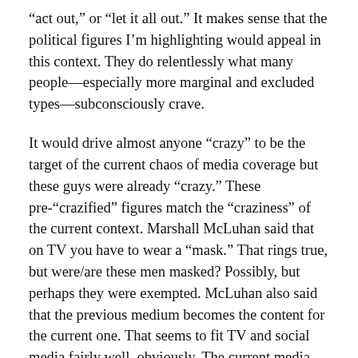“act out,” or “let it all out.” It makes sense that the political figures I’m highlighting would appeal in this context. They do relentlessly what many people—especially more marginal and excluded types—subconsciously crave.
It would drive almost anyone “crazy” to be the target of the current chaos of media coverage but these guys were already “crazy.” These pre-“crazified” figures match the “craziness” of the current context. Marshall McLuhan said that on TV you have to wear a “mask.” That rings true, but were/are these men masked? Possibly, but perhaps they were exempted. McLuhan also said that the previous medium becomes the content for the current one. That seems to fit TV and social media fairly well, obviously. The current media context is overwhelming. There’s a feeling of info-chaos, active competition between many mediums, people consuming many forms of